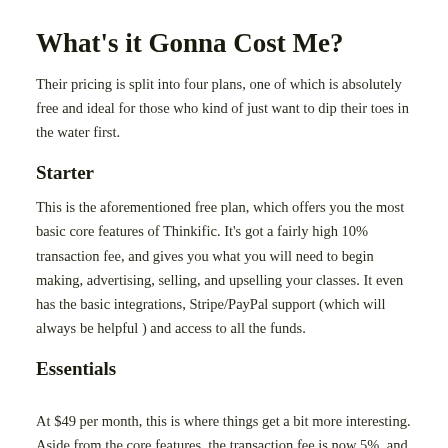What's it Gonna Cost Me?
Their pricing is split into four plans, one of which is absolutely free and ideal for those who kind of just want to dip their toes in the water first.
Starter
This is the aforementioned free plan, which offers you the most basic core features of Thinkific. It's got a fairly high 10% transaction fee, and gives you what you will need to begin making, advertising, selling, and upselling your classes. It even has the basic integrations, Stripe/PayPal support (which will always be helpful) and access to all the funds.
Essentials
At $49 per month, this is where things get a bit more interesting. Aside from the core features, the transaction fee is now 5%, and you